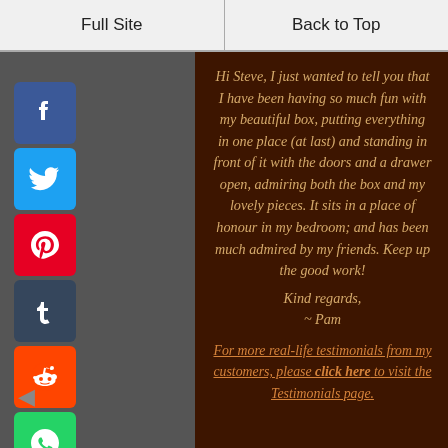Full Site | Back to Top
Hi Steve, I just wanted to tell you that I have been having so much fun with my beautiful box, putting everything in one place (at last) and standing in front of it with the doors and a drawer open, admiring both the box and my lovely pieces. It sits in a place of honour in my bedroom; and has been much admired by my friends. Keep up the good work!

Kind regards,

~ Pam
For more real-life testimonials from my customers, please click here to visit the Testimonials page.